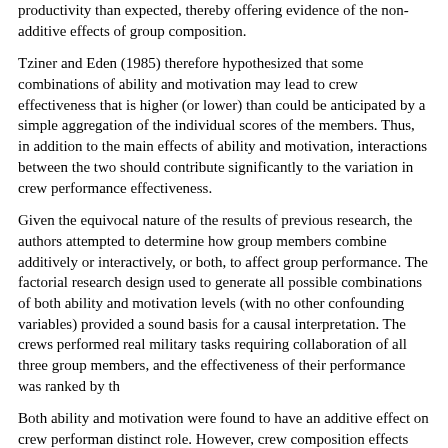productivity than expected, thereby offering evidence of the non-additive effects of group composition.
Tziner and Eden (1985) therefore hypothesized that some combinations of ability and motivation may lead to crew effectiveness that is higher (or lower) than could be anticipated by a simple aggregation of the individual scores of the members. Thus, in addition to the main effects of ability and motivation, interactions between the two should contribute significantly to the variation in crew performance effectiveness.
Given the equivocal nature of the results of previous research, the authors attempted to determine how group members combine additively or interactively, or both, to affect group performance. The factorial research design used to generate all possible combinations of both ability and motivation levels (with no other confounding variables) provided a sound basis for a causal interpretation. The crews performed real military tasks requiring collaboration of all three group members, and the effectiveness of their performance was ranked by the superior officers.
Both ability and motivation were found to have an additive effect on crew performance, with each variable playing a distinct role. However, crew composition effects emerged only for ability: (1) the performance of mixed crews exceeded the levels expected by the individual members´ ability; and (2) the performance of uniformly high-ability crews exceeded any other level.
It was also found that replacing one member of a high-ability crew with a low-ability soldier barely affected performance. Conversely, replacing one member of a low-level group with a high-ability soldier benefited the group more than did replacing one low-ability member in a crew with a high-low-low composition. In both cases, the gains from mixing were greater than from turning a high-high-low crew into a group of uniformly high-ability members. The finding that mixing ability in collaborative situations runs counter to the commonsense notion of "spreading talent."
The fact that group composition effects were found for ability but not for motivation supports a functional distinction between the two in group performance (Bouchard, 1972; Tziner & Vardi, 1982). In addition, the lack of an interaction between ability and motivation lends credence to the utility group approach to collaborative (group) performance, based on the dictum that "Performance = Ability X Motivation" (Vroom, 1960). Furthermore, noting that they had "biased against significant interactions" in their research design, Tziner and Eden (1985) concluded that their results are sufficient evidence that group members´ ability and/or motivation may combine...